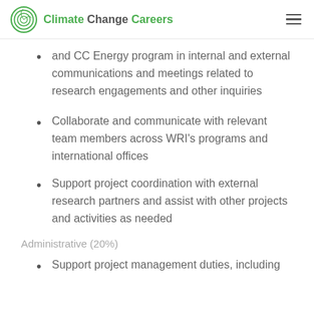Climate Change Careers
and CC Energy program in internal and external communications and meetings related to research engagements and other inquiries
Collaborate and communicate with relevant team members across WRI's programs and international offices
Support project coordination with external research partners and assist with other projects and activities as needed
Administrative (20%)
Support project management duties, including